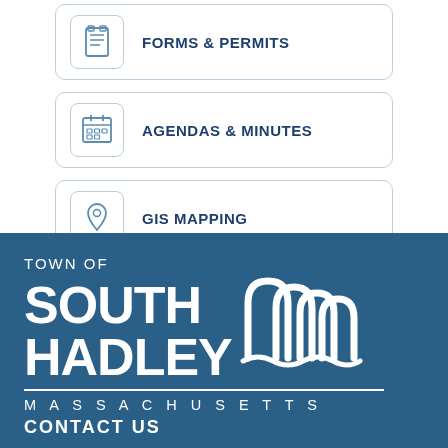FORMS & PERMITS
AGENDAS & MINUTES
GIS MAPPING
[Figure (logo): Town of South Hadley Massachusetts logo with wave emblem]
TOWN OF SOUTH HADLEY
MASSACHUSETTS
CONTACT US